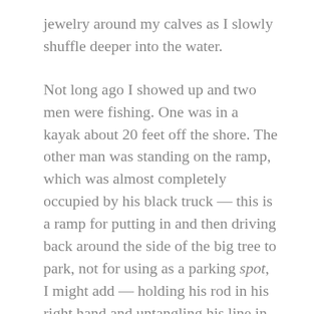jewelry around my calves as I slowly shuffle deeper into the water.
Not long ago I showed up and two men were fishing. One was in a kayak about 20 feet off the shore. The other man was standing on the ramp, which was almost completely occupied by his black truck — this is a ramp for putting in and then driving back around the side of the big tree to park, not for using as a parking spot, I might add — holding his rod in his right hand and untangling his line in his left.
Without my glasses, it looked more like he had hauled in a fish, which seemed a happy moment for him and one that required only a slight shift to the right side of the eight-foot wide ramp, so I could